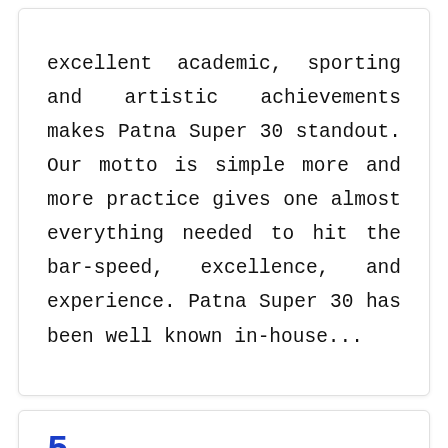excellent academic, sporting and artistic achievements makes Patna Super 30 standout. Our motto is simple more and more practice gives one almost everything needed to hit the bar-speed, excellence, and experience. Patna Super 30 has been well known in-house...
5.
Arms Coaching Institute Pvt Ltd